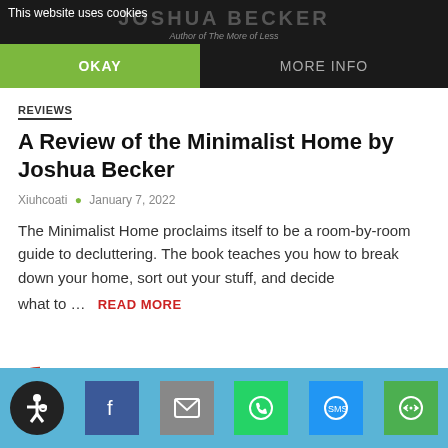JOSHUA BECKER — Author of The More of Less
This website uses cookies
OKAY — MORE INFO
REVIEWS
A Review of the Minimalist Home by Joshua Becker
Xiuhcoati • January 7, 2022
The Minimalist Home proclaims itself to be a room-by-room guide to decluttering. The book teaches you how to break down your home, sort out your stuff, and decide what to … READ MORE
Sharing is caring!
Social sharing toolbar: accessibility, facebook, email, whatsapp, sms, more